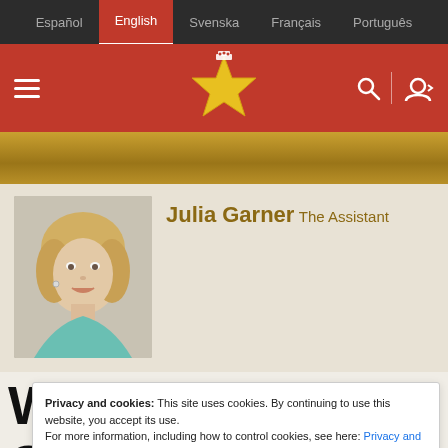Español | English | Svenska | Français | Português
[Figure (logo): Red header bar with hamburger menu, star logo, search icon, and user icon]
[Figure (photo): Julia Garner headshot photo - young blonde woman smiling]
Julia Garner
The Assistant
Privacy and cookies: This site uses cookies. By continuing to use this website, you accept its use.
For more information, including how to control cookies, see here: Privacy and cookies.
The actor who won the Boston Society of Film